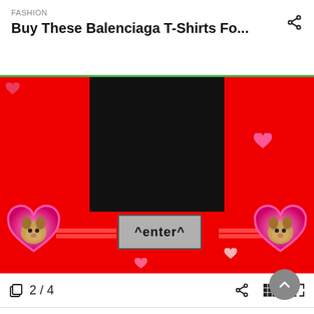FASHION
Buy These Balenciaga T-Shirts Fo...
[Figure (screenshot): Red background image showing a black T-shirt, two dog-in-heart stickers, red lines, and a grey 'enter' button with '^enter^' text]
2 / 4